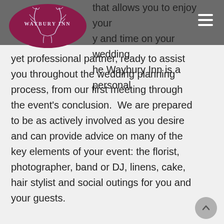[Figure (logo): Waybury Inn logo: a dark maroon/purple oval with antler illustration and text 'WAYBURY INN' in white]
that allows you to enjoy your money and time on your wedding day. The Waybury Inn is a personal yet professional partner, ready to assist you throughout the wedding planning process, from our first meeting through the event's conclusion.  We are prepared to be as actively involved as you desire and can provide advice on many of the key elements of your event: the florist, photographer, band or DJ, linens, cake, hair stylist and social outings for you and your guests.